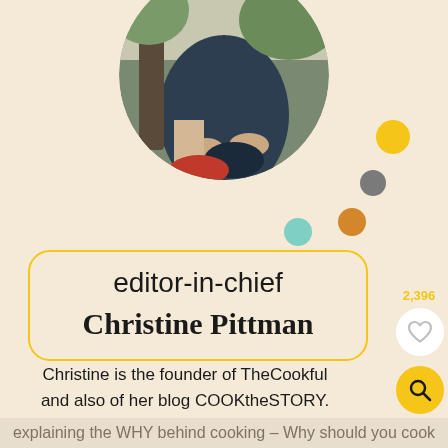[Figure (photo): Circular profile photo of a person sitting outdoors, cropped to show torso and hands resting on knee, with a red chair visible]
editor-in-chief
Christine Pittman
2,396
Christine is the founder of TheCookful and also of her blog COOKtheSTORY. Her passion is explaining the WHY behind cooking – Why should you cook
explaining the WHY behind
cooking – Why should you cook